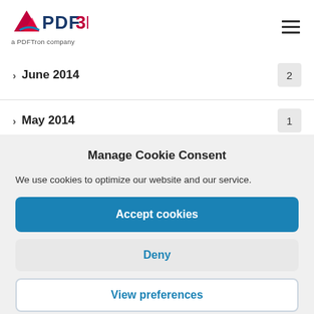[Figure (logo): PDF3D logo with triangle icon and 'a PDFTron company' tagline]
> June 2014  2
> May 2014  1
Manage Cookie Consent
We use cookies to optimize our website and our service.
Accept cookies
Deny
View preferences